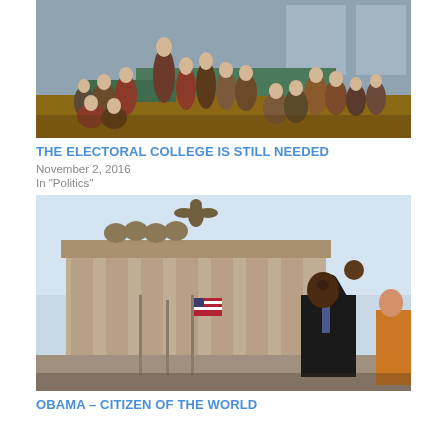[Figure (photo): Historical painting of the Constitutional Convention, showing the Founding Fathers gathered in a hall, with men in 18th-century attire standing and seated around tables.]
THE ELECTORAL COLLEGE IS STILL NEEDED
November 2, 2016
In "Politics"
[Figure (photo): Photo of Barack Obama waving to a crowd in front of the Brandenburg Gate in Berlin, with flags and a bronze quadriga sculpture visible in the background.]
OBAMA – Citizen of the World